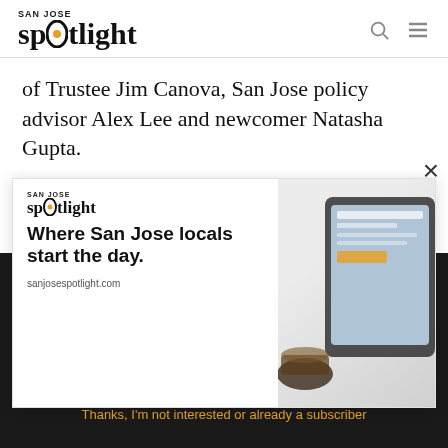SAN JOSE spotlight
of Trustee Jim Canova, San Jose policy advisor Alex Lee and newcomer Natasha Gupta.
The 25th Assembly district encompasses Fremont,
[Figure (infographic): San Jose Spotlight advertisement banner: logo with tagline 'Where San Jose locals start the day.' and sanjosespotlight.com URL, with image of tablet and coffee on right side. Close button (×) at top right.]
EMAIL ADDRESS
SUBSCRIBE
Thanks, I'm not interested or already a subscriber